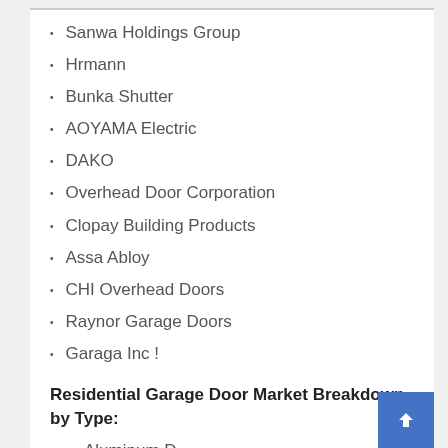Sanwa Holdings Group
Hrmann
Bunka Shutter
AOYAMA Electric
DAKO
Overhead Door Corporation
Clopay Building Products
Assa Abloy
CHI Overhead Doors
Raynor Garage Doors
Garaga Inc !
Residential Garage Door Market Breakdown by Type:
Aluminum D...